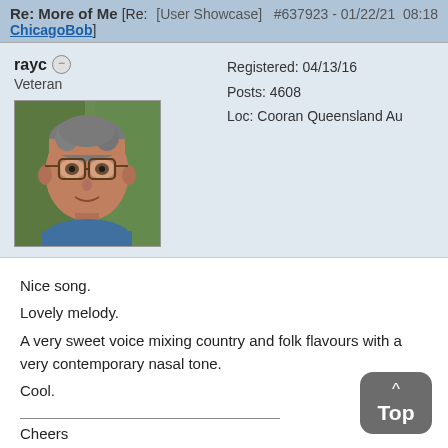Re: More of Me [Re: ChicagoBob]  [User Showcase]  #637923 - 01/22/21  08:18
rayc
Veteran
Registered: 04/13/16
Posts: 4608
Loc: Cooran Queensland Au
[Figure (photo): Profile photo of user rayc, a middle-aged man with grey hair and glasses, wearing a blue shirt, photographed outdoors with green foliage in background.]
Nice song.
Lovely melody.
A very sweet voice mixing country and folk flavours with a very contemporary nasal tone.
Cool.
Cheers
rayc